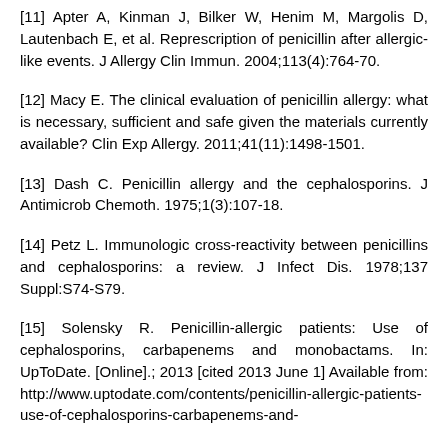[11] Apter A, Kinman J, Bilker W, Henim M, Margolis D, Lautenbach E, et al. Represcription of penicillin after allergic-like events. J Allergy Clin Immun. 2004;113(4):764-70.
[12] Macy E. The clinical evaluation of penicillin allergy: what is necessary, sufficient and safe given the materials currently available? Clin Exp Allergy. 2011;41(11):1498-1501.
[13] Dash C. Penicillin allergy and the cephalosporins. J Antimicrob Chemoth. 1975;1(3):107-18.
[14] Petz L. Immunologic cross-reactivity between penicillins and cephalosporins: a review. J Infect Dis. 1978;137 Suppl:S74-S79.
[15] Solensky R. Penicillin-allergic patients: Use of cephalosporins, carbapenems and monobactams. In: UpToDate. [Online].; 2013 [cited 2013 June 1] Available from: http://www.uptodate.com/contents/penicillin-allergic-patients-use-of-cephalosporins-carbapenems-and-